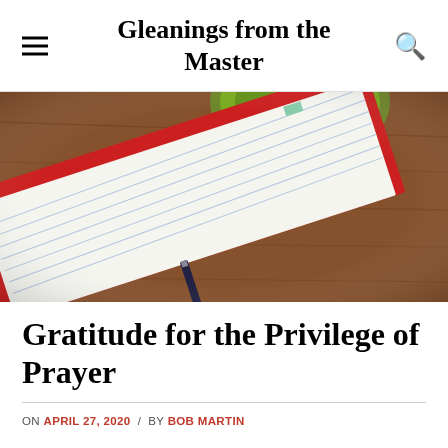Gleanings from the Master
[Figure (photo): Overhead photo of a lined notebook with a fountain pen resting on it and a green bowl or cup in the upper background, on a wooden surface.]
Gratitude for the Privilege of Prayer
ON APRIL 27, 2020 / BY BOB MARTIN